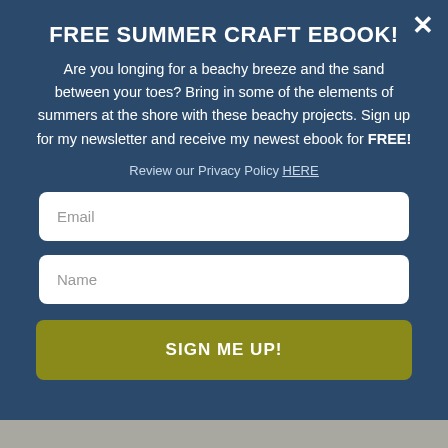FREE SUMMER CRAFT EBOOK!
Are you longing for a beachy breeze and the sand between your toes? Bring in some of the elements of summers at the shore with these beachy projects. Sign up for my newsletter and receive my newest ebook for FREE!
Review our Privacy Policy HERE
Email
Name
SIGN ME UP!
Related Topics
Crafts